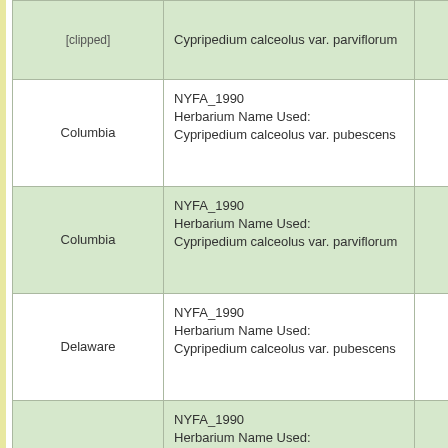| County | Source / Herbarium Name Used |  |
| --- | --- | --- |
| [clipped] | Cypripedium calceolus var. parviflorum |  |
| Columbia | NYFA_1990
Herbarium Name Used: Cypripedium calceolus var. pubescens |  |
| Columbia | NYFA_1990
Herbarium Name Used: Cypripedium calceolus var. parviflorum |  |
| Delaware | NYFA_1990
Herbarium Name Used: Cypripedium calceolus var. pubescens |  |
| Dutchess | NYFA_1990
Herbarium Name Used: Cypripedium calceolus var. pubescens |  |
| Dutchess | NYFA_1990
Herbarium Name Used: Cypripedium calceolus var. parviflorum |  |
| [clipped] | NYFA_1990 |  |